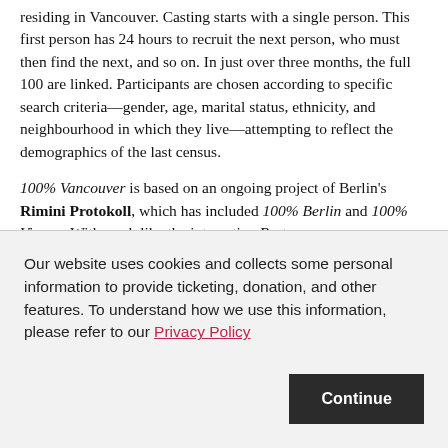residing in Vancouver. Casting starts with a single person. This first person has 24 hours to recruit the next person, who must then find the next, and so on. In just over three months, the full 100 are linked. Participants are chosen according to specific search criteria—gender, age, marital status, ethnicity, and neighbourhood in which they live—attempting to reflect the demographics of the last census.
100% Vancouver is based on an ongoing project of Berlin's Rimini Protokoll, which has included 100% Berlin and 100% Vienna. With work like the interactive Best
Our website uses cookies and collects some personal information to provide ticketing, donation, and other features. To understand how we use this information, please refer to our Privacy Policy